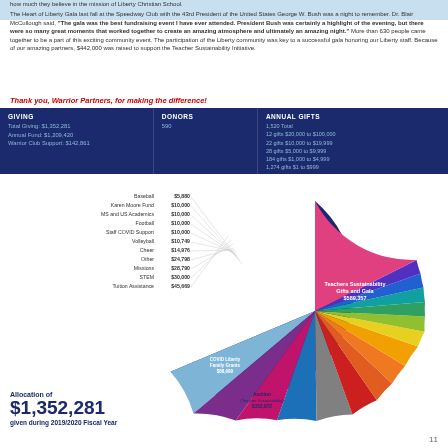how much they believe in the mission of Liberty Christian School.
The Heart of Liberty Gala last fall at the Speedway Club with the 43rd President of the United States George W. Bush was a night to remember. Dr. Blair McCullough said, "The gala was the best fundraising event I have ever attended. President Bush was certainly a highlight of the evening, but there were so many great moments that worked together to create an amazing atmosphere and ultimately an amazing night." More than 630 people came together to be a part of this exciting community event. The participation of the Liberty community was key to a successful gala honoring our Liberty staff. Because of our amazing partners, $442,000 was raised to support the Teacher Sustainability Initiative.
Thank you, Warrior Partners, for making the difference!
| GIVING | DONORS | ANNUAL GIFTS |
| --- | --- | --- |
| Total Giving: $1,352,281
Annual Fund: $1,209,420
Warrior Club Support: $142,861 | 590 | 1,520 Total
12 gifts $20,000 to $100,000
22 gifts $10,000 to $19,999
28 gifts $5,000 to $9,999
184 gifts $1,000 to $4,999
1,274 gifts $1 to $999 |
[Figure (pie-chart): Allocation of $1,352,281 given during 2019/2020 Fiscal Year]
Allocation of
$1,352,281
given during 2019/2020 Fiscal Year
11